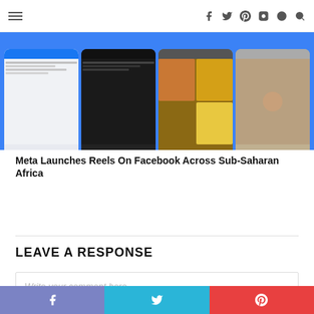Navigation header with hamburger menu and social icons (Facebook, Twitter, Pinterest, Instagram, Skype, Search)
[Figure (screenshot): Blue background with four smartphone screens showing Facebook Reels interface - social feed, dark mode video, food photo grid, and person eating]
Meta Launches Reels On Facebook Across Sub-Saharan Africa
LEAVE A RESPONSE
Write your comment here...
Social share bar with Facebook, Twitter, and Pinterest buttons